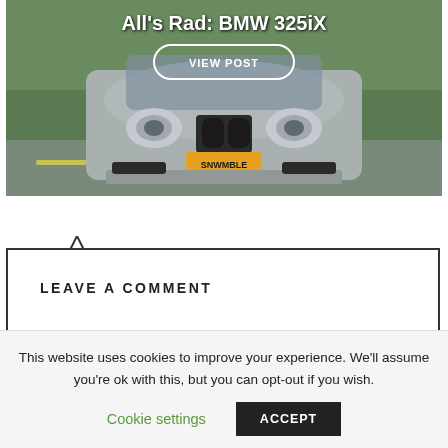[Figure (photo): Photo of a silver BMW 325iX viewed from the front, with text overlay 'All's Rad: BMW 325iX' and a 'VIEW POST' button with rounded white border. The car has a yellow license plate reading 'SNWMBLE'. Green grass and road visible in background.]
LEAVE A COMMENT
This website uses cookies to improve your experience. We'll assume you're ok with this, but you can opt-out if you wish.
Cookie settings
ACCEPT